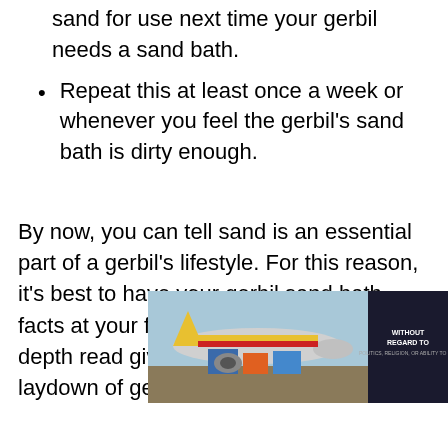Get a storage container and place the sieved sand for use next time your gerbil needs a sand bath.
Repeat this at least once a week or whenever you feel the gerbil’s sand bath is dirty enough.
By now, you can tell sand is an essential part of a gerbil’s lifestyle. For this reason, it’s best to have your gerbil sand bath facts at your fingertips. Hopefully, our in-depth read gives you the front foot on the laydown of gerbil sand baths.
[Figure (photo): Advertisement banner showing an airplane being loaded with cargo, with text overlay reading WITHOUT REGARD TO on a dark background.]